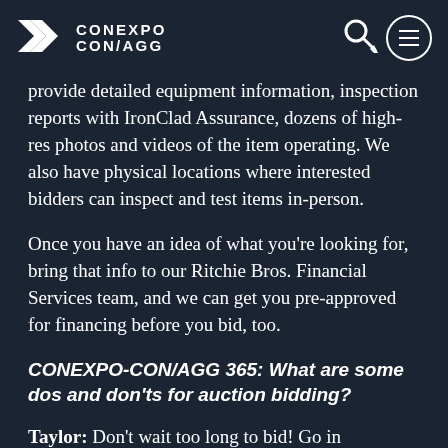CONEXPO CON/AGG
provide detailed equipment information, inspection reports with IronClad Assurance, dozens of high-res photos and videos of the item operating. We also have physical locations where interested bidders can inspect and test items in-person.
Once you have an idea of what you're looking for, bring that info to our Ritchie Bros. Financial Services team, and we can get you pre-approved for financing before you bid, too.
CONEXPO-CON/AGG 365: What are some dos and don'ts for auction bidding?
Taylor: Don't wait too long to bid! Go in confident, having done your research. You can check past sale prices for similar items on our website or through our